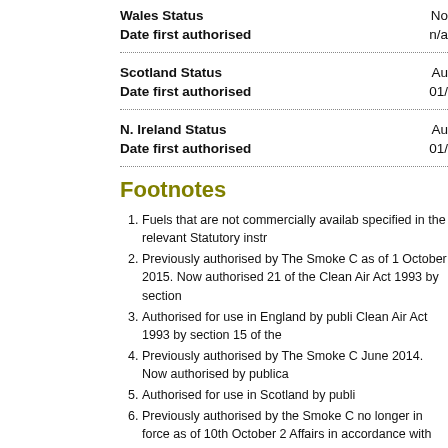| Field | Value |
| --- | --- |
| Wales Status | No |
| Date first authorised | n/a |
| Scotland Status | Au |
| Date first authorised | 01/ |
| N. Ireland Status | Au |
| Date first authorised | 01/ |
Footnotes
Fuels that are not commercially available specified in the relevant Statutory instr
Previously authorised by The Smoke C as of 1 October 2015. Now authorised 21 of the Clean Air Act 1993 by section
Authorised for use in England by publi Clean Air Act 1993 by section 15 of the
Previously authorised by The Smoke C June 2014. Now authorised by publica
Authorised for use in Scotland by publi
Previously authorised by the Smoke C no longer in force as of 10th October 2 Affairs in accordance with changes ma Environmental Better Regulation Act (N